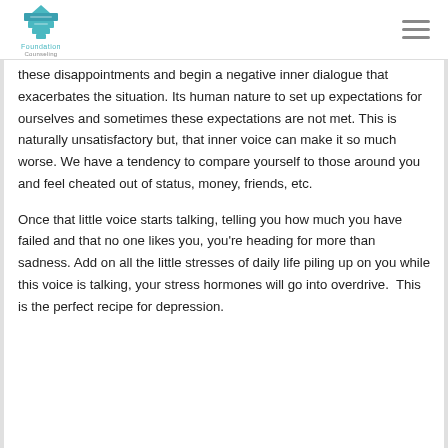Foundation Counseling logo and navigation menu
these disappointments and begin a negative inner dialogue that exacerbates the situation. Its human nature to set up expectations for ourselves and sometimes these expectations are not met. This is naturally unsatisfactory but, that inner voice can make it so much worse. We have a tendency to compare yourself to those around you and feel cheated out of status, money, friends, etc.

Once that little voice starts talking, telling you how much you have failed and that no one likes you, you're heading for more than sadness. Add on all the little stresses of daily life piling up on you while this voice is talking, your stress hormones will go into overdrive. This is the perfect recipe for depression.